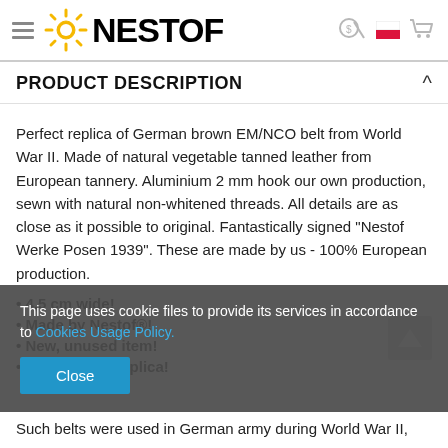NESTOF
PRODUCT DESCRIPTION
Perfect replica of German brown EM/NCO belt from World War II. Made of natural vegetable tanned leather from European tannery. Aluminium 2 mm hook our own production, sewn with natural non-whitened threads. All details are as close as it possible to original. Fantastically signed "Nestof Werke Posen 1939". These are made by us - 100% European production.
• 4,5 cm wide!
• Made by Nestof®!
• New, unused item!
• High quality replica!
This page uses cookie files to provide its services in accordance to Cookies Usage Policy.
Such belts were used in German army during World War II,